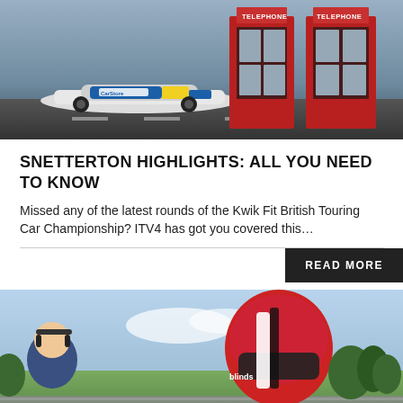[Figure (photo): Racing car with CarStore livery on track, with two red British telephone boxes in the background]
SNETTERTON HIGHLIGHTS: ALL YOU NEED TO KNOW
Missed any of the latest rounds of the Kwik Fit British Touring Car Championship? ITV4 has got you covered this…
READ MORE
[Figure (photo): Racing driver in helmet with Blinds branding standing at trackside with another person, green grass and barriers in background]